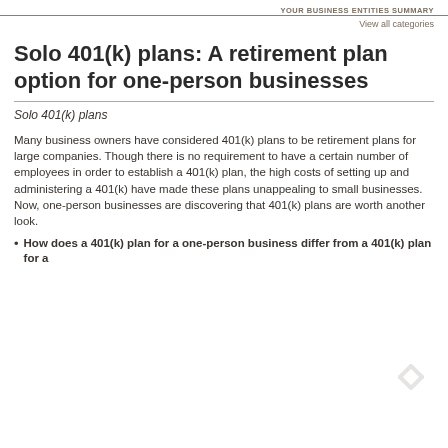YOUR BUSINESS ENTITIES SUMMARY
View all categories
Solo 401(k) plans: A retirement plan option for one-person businesses
Solo 401(k) plans
Many business owners have considered 401(k) plans to be retirement plans for large companies. Though there is no requirement to have a certain number of employees in order to establish a 401(k) plan, the high costs of setting up and administering a 401(k) have made these plans unappealing to small businesses. Now, one-person businesses are discovering that 401(k) plans are worth another look.
How does a 401(k) plan for a one-person business differ from a 401(k) plan for a